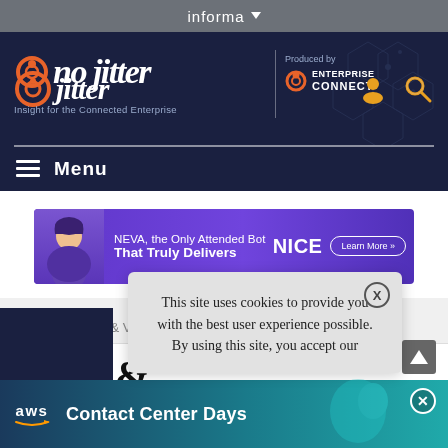informa
[Figure (logo): No Jitter logo with orange circle, white italic text 'no jitter', tagline 'Insight for the Connected Enterprise', Produced by Enterprise Connect logo, user and search icons on dark navy background]
Menu
[Figure (screenshot): NICE advertisement banner: NEVA, the Only Attended Bot That Truly Delivers. Learn More >>]
Posts / News & Views
News &
This site uses cookies to provide you with the best user experience possible. By using this site, you accept our
[Figure (screenshot): AWS Contact Center Days advertisement banner at bottom of page]